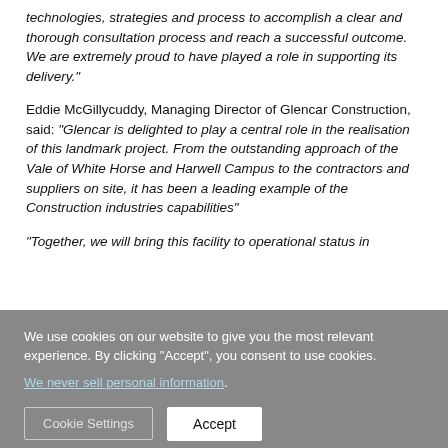technologies, strategies and process to accomplish a clear and thorough consultation process and reach a successful outcome. We are extremely proud to have played a role in supporting its delivery."
Eddie McGillycuddy, Managing Director of Glencar Construction, said: “Glencar is delighted to play a central role in the realisation of this landmark project. From the outstanding approach of the Vale of White Horse and Harwell Campus to the contractors and suppliers on site, it has been a leading example of the Construction industries capabilities”
“Together, we will bring this facility to operational status in
We use cookies on our website to give you the most relevant experience. By clicking “Accept”, you consent to use cookies. We never sell personal information.